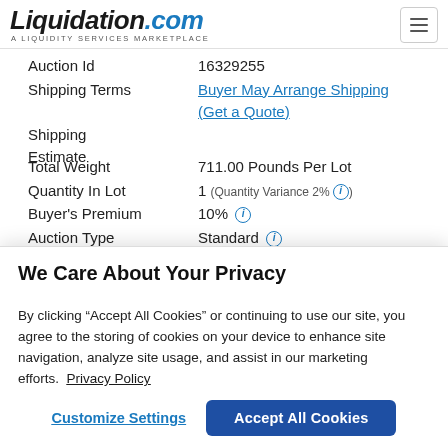[Figure (logo): Liquidation.com logo with tagline 'A LIQUIDITY SERVICES MARKETPLACE']
| Field | Value |
| --- | --- |
| Auction Id | 16329255 |
| Shipping Terms | Buyer May Arrange Shipping (Get a Quote) |
| Shipping Estimate |  |
| Total Weight | 711.00 Pounds Per Lot |
| Quantity In Lot | 1 (Quantity Variance 2%) |
| Buyer's Premium | 10% |
| Auction Type | Standard |
| Payments | PayPal, MasterCard, VISA, DISCOVER |
We Care About Your Privacy
By clicking “Accept All Cookies” or continuing to use our site, you agree to the storing of cookies on your device to enhance site navigation, analyze site usage, and assist in our marketing efforts.  Privacy Policy
Customize Settings
Accept All Cookies